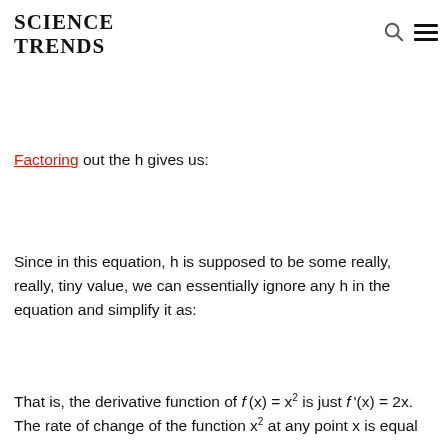SCIENCE TRENDS
Factoring out the h gives us:
Since in this equation, h is supposed to be some really, really, tiny value, we can essentially ignore any h in the equation and simplify it as:
That is, the derivative function of f(x) = x² is just f'(x) = 2x. The rate of change of the function x² at any point x is equal